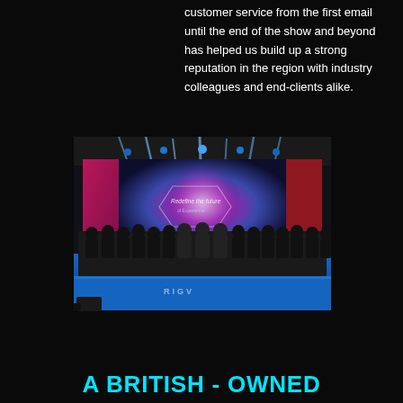customer service from the first email until the end of the show and beyond has helped us build up a strong reputation in the region with industry colleagues and end-clients alike.
[Figure (photo): Group photo of a large team in black clothing standing on a stage with blue LED floor lighting. The stage backdrop shows a colorful gradient display reading 'Redefine the future' with pink and purple tones. Stage lighting rigs with blue and white beams are visible above.]
A BRITISH - OWNED